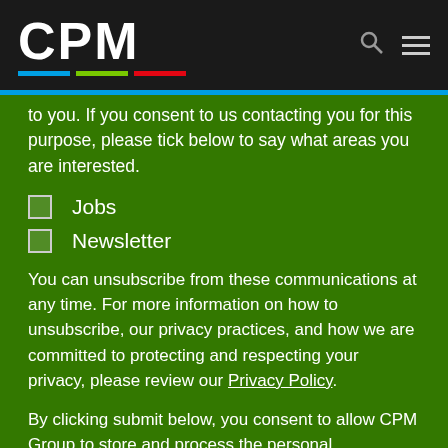[Figure (logo): CPM logo with colored bars (blue, green, red) on dark background header with search and menu icons]
to you. If you consent to us contacting you for this purpose, please tick below to say what areas you are interested.
Jobs
Newsletter
You can unsubscribe from these communications at any time. For more information on how to unsubscribe, our privacy practices, and how we are committed to protecting and respecting your privacy, please review our Privacy Policy.
By clicking submit below, you consent to allow CPM Group to store and process the personal information submitted above to provide you the content requested.